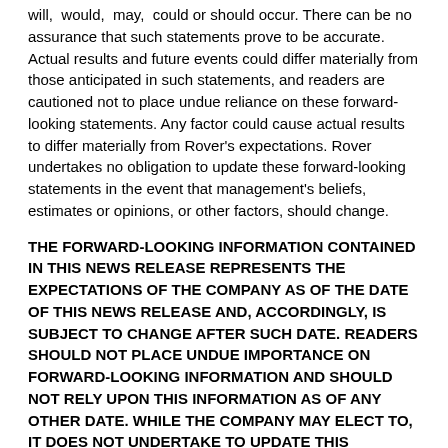will, would, may, could or should occur. There can be no assurance that such statements prove to be accurate. Actual results and future events could differ materially from those anticipated in such statements, and readers are cautioned not to place undue reliance on these forward-looking statements. Any factor could cause actual results to differ materially from Rover's expectations. Rover undertakes no obligation to update these forward-looking statements in the event that management's beliefs, estimates or opinions, or other factors, should change.
THE FORWARD-LOOKING INFORMATION CONTAINED IN THIS NEWS RELEASE REPRESENTS THE EXPECTATIONS OF THE COMPANY AS OF THE DATE OF THIS NEWS RELEASE AND, ACCORDINGLY, IS SUBJECT TO CHANGE AFTER SUCH DATE. READERS SHOULD NOT PLACE UNDUE IMPORTANCE ON FORWARD-LOOKING INFORMATION AND SHOULD NOT RELY UPON THIS INFORMATION AS OF ANY OTHER DATE. WHILE THE COMPANY MAY ELECT TO, IT DOES NOT UNDERTAKE TO UPDATE THIS INFORMATION AT ANY PARTICULAR TIME EXCEPT AS REQUIRED IN ACCORDANCE WITH APPLICABLE LAWS.
NEITHER THE TSX VENTURE EXCHANGE NOR ITS REGULATION PROVIDER (AS THAT TERM IS DEFINED IN THE